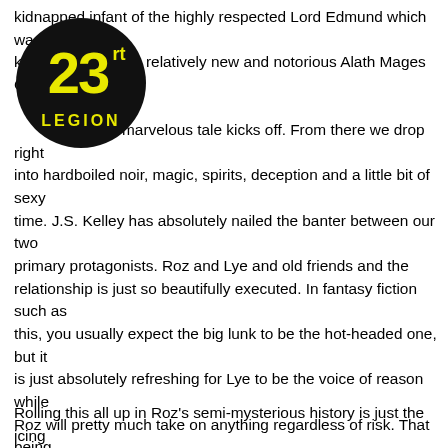[Figure (logo): 23rd Legion logo: black circle with yellow '23' in bold stylized font and 'rt' superscript, 'LEGION' text below in yellow on black background]
kidnapped infant of the highly respected Lord Edmund which was kidnapped by the relatively new and notorious Alath Mages Guild.

This is where this marvelous tale kicks off. From there we drop right into hardboiled noir, magic, spirits, deception and a little bit of sexy time. J.S. Kelley has absolutely nailed the banter between our two primary protagonists. Roz and Lye and old friends and the relationship is just so beautifully executed. In fantasy fiction such as this, you usually expect the big lunk to be the hot-headed one, but it is just absolutely refreshing for Lye to be the voice of reason while Roz will pretty much take on anything regardless of risk. That being said, though, Roz has a real intuitive noggin on her shoulders. The mystery aspect of Gutter Mage is what really sets it apart from much of the fantasy fiction that is out there. I would think I had a certain twist sorted, and be absolutely wrong: an incredibly enjoyable feeling when navigating a new book.

Rolling this all up in Roz's semi-mysterious history is just the icing
Rolling this all up in Roz's semi-mysterious history is just the icing